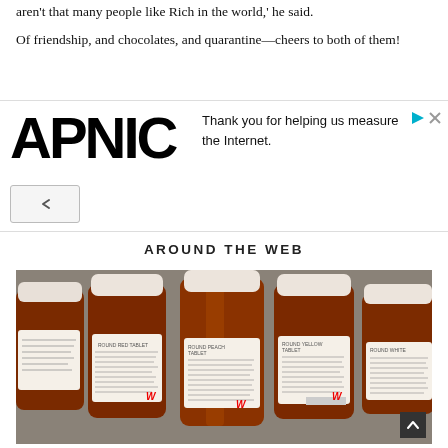aren't that many people like Rich in the world,' he said.
Of friendship, and chocolates, and quarantine—cheers to both of them!
[Figure (screenshot): APNIC advertisement banner with text 'Thank you for helping us measure the Internet.' and navigation arrow icon. Small triangle play/expand icons in the top right.]
AROUND THE WEB
[Figure (photo): Five amber/orange prescription pill bottles from Walgreens pharmacy, lying on their sides on a grey surface, with white caps and white labels showing medication information.]